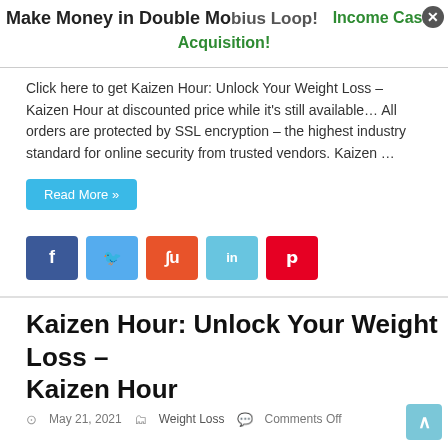Make Money in Double Mobius Loop! | Income Cashflow Acquisition!
Click here to get Kaizen Hour: Unlock Your Weight Loss – Kaizen Hour at discounted price while it's still available… All orders are protected by SSL encryption – the highest industry standard for online security from trusted vendors. Kaizen …
Read More »
[Figure (infographic): Social media share buttons: Facebook (blue), Twitter (light blue), StumbleUpon (orange-red), LinkedIn (light blue), Pinterest (red)]
Kaizen Hour: Unlock Your Weight Loss – Kaizen Hour
May 21, 2021   Weight Loss   Comments Off
[Figure (infographic): Blue promotional image with green top bar, showing text: Finally, UNLOCK YOUR WEIGHT LOSS and Stop Struggling for Good]